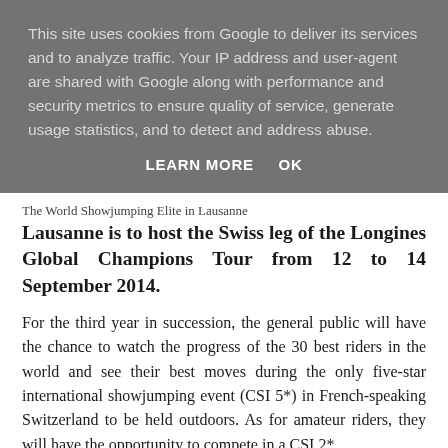This site uses cookies from Google to deliver its services and to analyze traffic. Your IP address and user-agent are shared with Google along with performance and security metrics to ensure quality of service, generate usage statistics, and to detect and address abuse.
LEARN MORE    OK
The World Showjumping Elite in Lausanne
Lausanne is to host the Swiss leg of the Longines Global Champions Tour from 12 to 14 September 2014.
For the third year in succession, the general public will have the chance to watch the progress of the 30 best riders in the world and see their best moves during the only five-star international showjumping event (CSI 5*) in French-speaking Switzerland to be held outdoors. As for amateur riders, they will have the opportunity to compete in a CSI 2*.